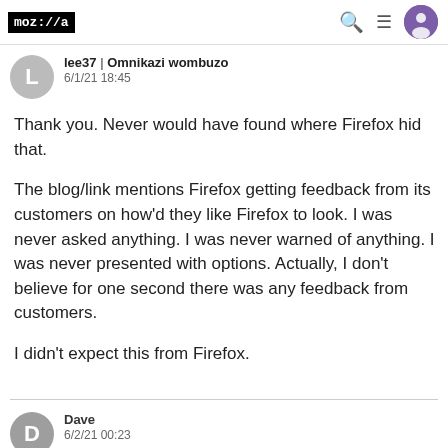moz://a
lee37 | Omnikazi wombuzo
6/1/21 18:45
Thank you. Never would have found where Firefox hid that.

The blog/link mentions Firefox getting feedback from its customers on how'd they like Firefox to look. I was never asked anything. I was never warned of anything. I was never presented with options. Actually, I don't believe for one second there was any feedback from customers.

I didn't expect this from Firefox.
Dave
6/2/21 00:23